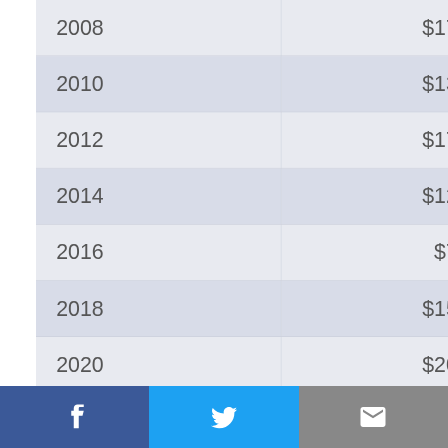| 2008 | $17,000 |
| 2010 | $13,000 |
| 2012 | $17,500 |
| 2014 | $12,000 |
| 2016 | $7,500 |
| 2018 | $15,000 |
| 2020 | $20,000 |
Facebook | Twitter | Email